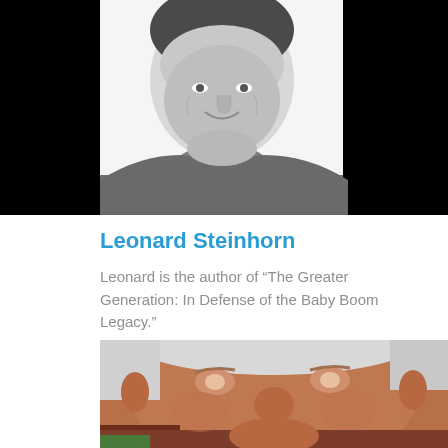[Figure (photo): Black and white portrait photo of Leonard Steinhorn, a middle-aged man with dark hair, smiling, wearing a jacket. Black panels flank both sides of the photo.]
Leonard Steinhorn
Leonard is the author of “The Greater Generation: In Defense of the Baby Boom Legacy.”
[Figure (photo): Color photograph of an older man with white/grey hair, close-up portrait, seated in a brown leather chair against an orange/tan background wall.]